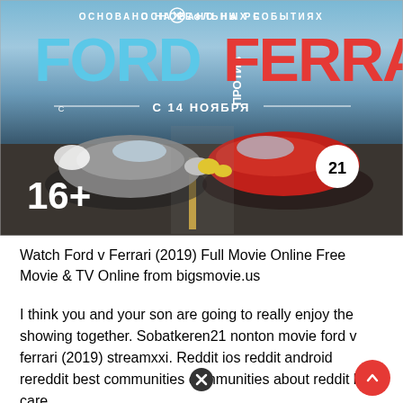[Figure (photo): Movie poster for Ford v Ferrari (Russian localization) showing two racing cars - a grey Ford GT40 on the left and a red Ferrari on the right numbered 21, on a race track. Russian text reads 'ОСНОВАНО НА РЕАЛЬНЫХ СОБЫТИЯХ' (Based on real events), 'FORD против FERRARI', 'С 14 НОЯБРЯ' (From November 14). Age rating 16+ shown in bottom left.]
Watch Ford v Ferrari (2019) Full Movie Online Free Movie & TV Online from bigsmovie.us
I think you and your son are going to really enjoy the showing together. Sobatkeren21 nonton movie ford v ferrari (2019) streamxxi. Reddit ios reddit android rereddit best communities communities about reddit blog careers press.